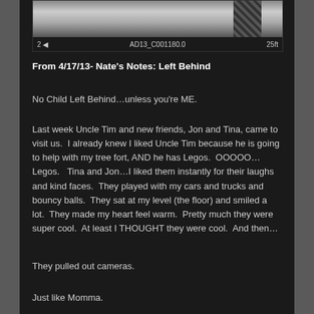[Figure (screenshot): A black and white image (appears to be a security or dashcam still) with overlay text showing '2 ◄', 'AD13_C001180.0', and '25ft']
From 4/17/13- Nate's Notes: Left Behind
No Child Left Behind…unless you're ME.
Last week Uncle Tim and new friends, Jon and Tina, came to visit us.  I already knew I liked Uncle Tim because he is going to help with my tree fort, AND he has Legos.  OOOOO…Legos.   Tina and Jon…I liked them instantly for their laughs and kind faces.  They played with my cars and trucks and bouncy balls.  They sat at my level (the floor) and smiled a lot.  They made my heart feel warm.  Pretty much they were super cool.  At least I THOUGHT they were cool.  And then…
They pulled out cameras.
Just like Momma.